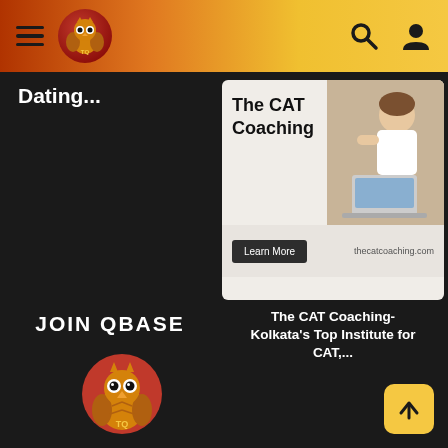TQ - Navigation header with hamburger menu, owl logo, search and user icons
Dating...
[Figure (screenshot): Advertisement card for The CAT Coaching with a Learn More button and thecatcoaching.com URL]
The CAT Coaching- Kolkata's Top Institute for CAT,...
JOIN QBASE
[Figure (logo): TQ owl logo - red circular background with golden/orange stylized owl and TQ text]
[Figure (other): Yellow scroll-to-top button with upward arrow]